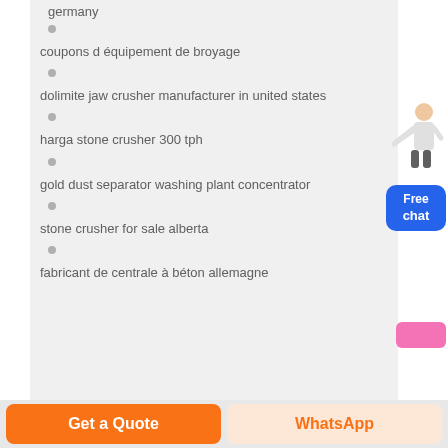germany
coupons d équipement de broyage
dolimite jaw crusher manufacturer in united states
harga stone crusher 300 tph
gold dust separator washing plant concentrator
stone crusher for sale alberta
fabricant de centrale à béton allemagne
Get a Quote
WhatsApp